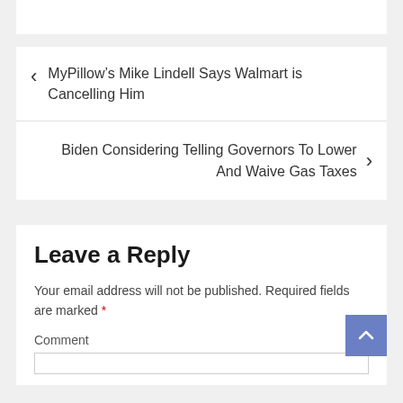MyPillow’s Mike Lindell Says Walmart is Cancelling Him
Biden Considering Telling Governors To Lower And Waive Gas Taxes
Leave a Reply
Your email address will not be published. Required fields are marked *
Comment